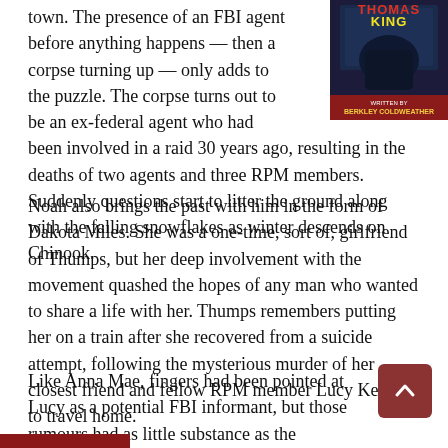[Figure (illustration): Book cover showing 'Thomas King' with dark artistic illustration and subtitle text]
town. The presence of an FBI agent before anything happens — then a corpse turning up — only adds to the puzzle. The corpse turns out to be an ex-federal agent who had been involved in a raid 30 years ago, resulting in the deaths of two agents and three RPM members. Suddenly questions start to litter the ground along with the falling snowflakes as winter descends on Chinook.
Noah also brings the past with him in the form of Dakota Miles. She was a one-time, sort of, girlfriend of Thumps, but her deep involvement with the movement quashed the hopes of any man who wanted to share a life with her. Thumps remembers putting her on a train after she recovered from a suicide attempt, following the mysterious murder of her closest friend and fellow RPM member Lucy Kettle, to travel home.
Like Anna Mae, fingers had been pointed at Lucy as a potential FBI informant, but those rumours had as little substance as the guesses as to who killed her. Perhaps it was RPM members getting rid of a traitor. Or the FBI — either directly being behind the hit or indirectly